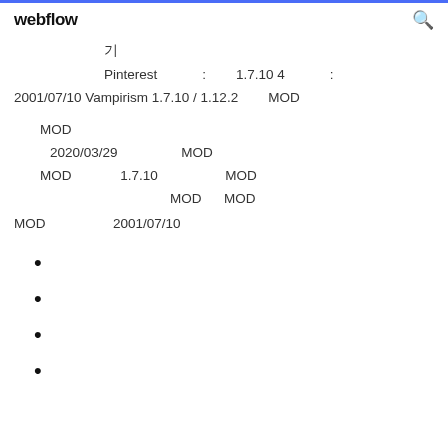webflow [search icon]
Pinterest : 1.7.10 4 :
2001/07/10 Vampirism 1.7.10 / 1.12.2 MOD
MOD
2020/03/29 MOD
MOD 1.7.10 MOD
MOD MOD
MOD 2001/07/10